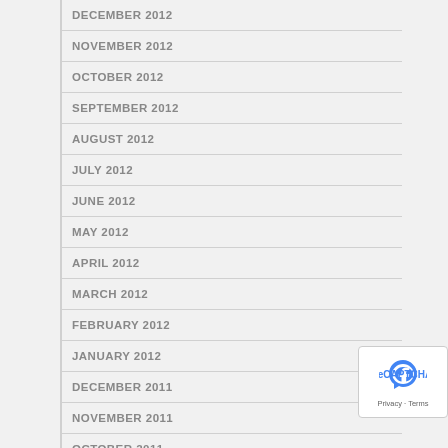DECEMBER 2012
NOVEMBER 2012
OCTOBER 2012
SEPTEMBER 2012
AUGUST 2012
JULY 2012
JUNE 2012
MAY 2012
APRIL 2012
MARCH 2012
FEBRUARY 2012
JANUARY 2012
DECEMBER 2011
NOVEMBER 2011
OCTOBER 2011
SEPTEMBER 2011
JULY 2011